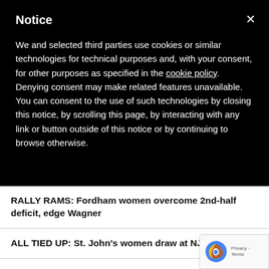Notice
We and selected third parties use cookies or similar technologies for technical purposes and, with your consent, for other purposes as specified in the cookie policy. Denying consent may make related features unavailable. You can consent to the use of such technologies by closing this notice, by scrolling this page, by interacting with any link or button outside of this notice or by continuing to browse otherwise.
RALLY RAMS: Fordham women overcome 2nd-half deficit, edge Wagner
ALL TIED UP: St. John's women draw at NJIT
VIDEO: Listen to Mr. Aaronson
ICYMI: Aaronson's goal against sleepy Chelsea